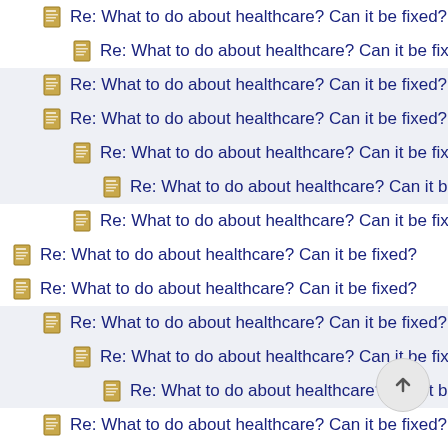Re: What to do about healthcare? Can it be fixed?
Re: What to do about healthcare? Can it be fixed?
Re: What to do about healthcare? Can it be fixed?
Re: What to do about healthcare? Can it be fixed?
Re: What to do about healthcare? Can it be fixed?
Re: What to do about healthcare? Can it be fixed?
Re: What to do about healthcare? Can it be fixed?
Re: What to do about healthcare? Can it be fixed?
Re: What to do about healthcare? Can it be fixed?
Re: What to do about healthcare? Can it be fixed?
Re: What to do about healthcare? Can it be fixed?
Re: What to do about healthcare? Can it be fixed?
Re: What to do about healthcare? Can it be fixed?